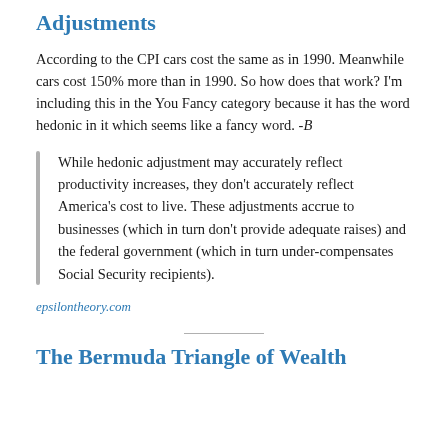Adjustments
According to the CPI cars cost the same as in 1990. Meanwhile cars cost 150% more than in 1990. So how does that work? I'm including this in the You Fancy category because it has the word hedonic in it which seems like a fancy word. -B
While hedonic adjustment may accurately reflect productivity increases, they don't accurately reflect America's cost to live. These adjustments accrue to businesses (which in turn don't provide adequate raises) and the federal government (which in turn under-compensates Social Security recipients).
epsilontheory.com
The Bermuda Triangle of Wealth